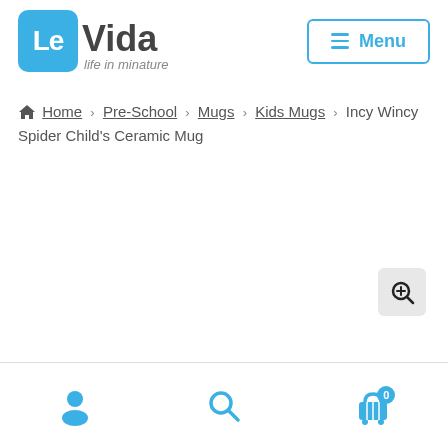Le Vida — life in minature | Menu
Home > Pre-School > Mugs > Kids Mugs > Incy Wincy Spider Child's Ceramic Mug
[Figure (other): Magnifying glass / zoom icon button (circular icon with plus inside)]
Bottom navigation bar with person icon, search icon, and cart icon with badge 0